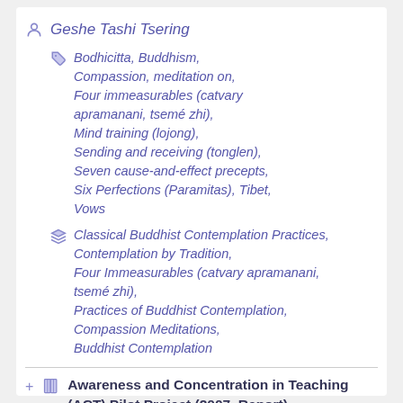Geshe Tashi Tsering
Bodhicitta, Buddhism, Compassion, meditation on, Four immeasurables (catvary apramanani, tsemé zhi), Mind training (lojong), Sending and receiving (tonglen), Seven cause-and-effect precepts, Six Perfections (Paramitas), Tibet, Vows
Classical Buddhist Contemplation Practices, Contemplation by Tradition, Four Immeasurables (catvary apramanani, tsemé zhi), Practices of Buddhist Contemplation, Compassion Meditations, Buddhist Contemplation
Awareness and Concentration in Teaching (ACT) Pilot Project (2007, Report)